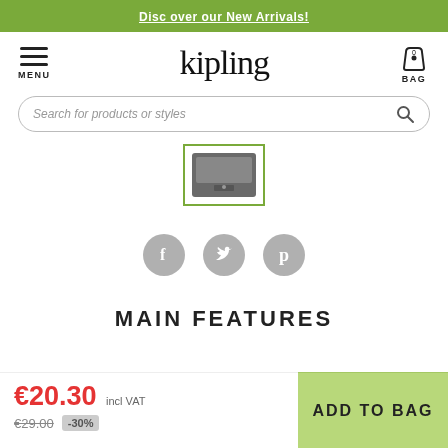Discover our New Arrivals!
[Figure (logo): Kipling brand logo in stylized serif font]
Search for products or styles
[Figure (screenshot): Product thumbnail image in green-bordered frame]
[Figure (other): Social sharing icons: Facebook, Twitter, Pinterest (grey circles with white icons)]
MAIN FEATURES
€20.30 incl VAT
€29.00 -30%
ADD TO BAG